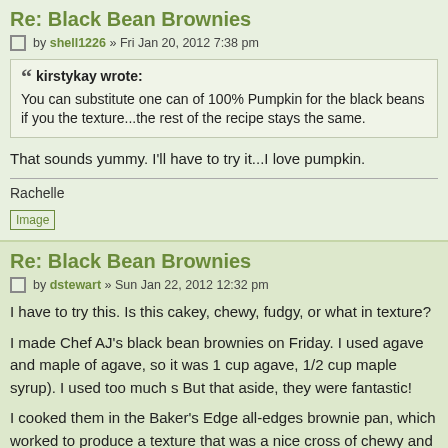Re: Black Bean Brownies
by shell1226 » Fri Jan 20, 2012 7:38 pm
kirstykay wrote:
You can substitute one can of 100% Pumpkin for the black beans if you... the texture...the rest of the recipe stays the same.
That sounds yummy. I'll have to try it...I love pumpkin.
Rachelle
[Figure (other): Image placeholder link]
Re: Black Bean Brownies
by dstewart » Sun Jan 22, 2012 12:32 pm
I have to try this. Is this cakey, chewy, fudgy, or what in texture?
I made Chef AJ's black bean brownies on Friday. I used agave and maple... of agave, so it was 1 cup agave, 1/2 cup maple syrup). I used too much s... But that aside, they were fantastic!
I cooked them in the Baker's Edge all-edges brownie pan, which worked... to produce a texture that was a nice cross of chewy and cakey. There w...